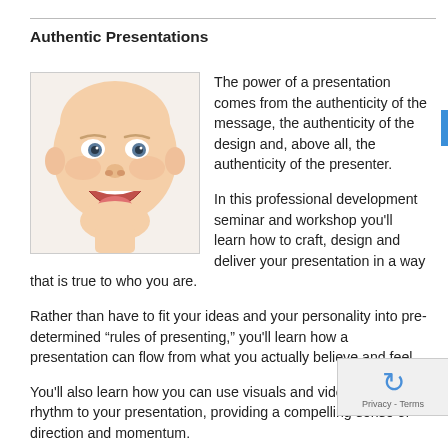Authentic Presentations
[Figure (photo): Close-up photo of a laughing baby with wide open mouth and bright eyes against a white background]
The power of a presentation comes from the authenticity of the message, the authenticity of the design and, above all, the authenticity of the presenter.

In this professional development seminar and workshop you’ll learn how to craft, design and deliver your presentation in a way that is true to who you are.

Rather than have to fit your ideas and your personality into pre-determined “rules of presenting,” you’ll learn how a presentation can flow from what you actually believe and feel.

You’ll also learn how you can use visuals and video to give rhythm to your presentation, providing a compelling sense of direction and momentum.

Best of all, you’ll put those ideas into practice by delivering a presentation that will be critiqued not only by other attendees but by a professional film director. And your presentation will be